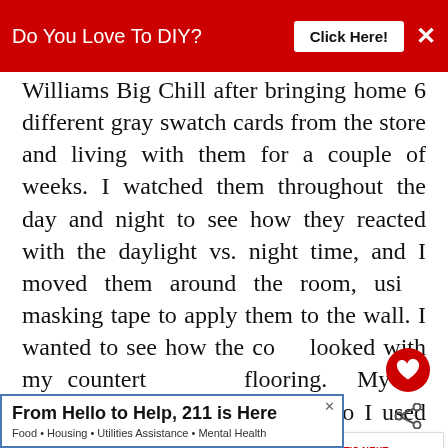Do You Love To DIY?   Click Here!   ×
Williams Big Chill after bringing home 6 different gray swatch cards from the store and living with them for a couple of weeks. I watched them throughout the day and night to see how they reacted with the daylight vs. night time, and I moved them around the room, using masking tape to apply them to the wall. I wanted to see how the color looked with my countertops and flooring. My cabinets ... painted yet, so I used samples of the ... and gray
[Figure (infographic): What's Next overlay with thumbnail image: 'When And Why Do You...']
From Hello to Help, 211 is Here
Food • Housing • Utilities Assistance • Mental Health